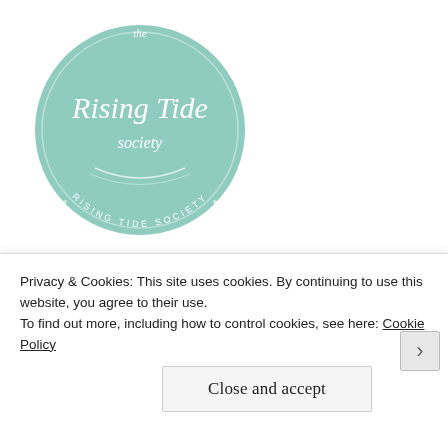[Figure (logo): The Rising Tide Society circular logo in mint/teal green with white script text reading 'the Rising Tide society' and 'RISING TIDE SOCIETY' around the border]
Featured on:
[Figure (logo): Dark navy blue circular badge with 'FEATURED' text across the center in white letters, partially visible]
Privacy & Cookies: This site uses cookies. By continuing to use this website, you agree to their use.
To find out more, including how to control cookies, see here: Cookie Policy
Close and accept